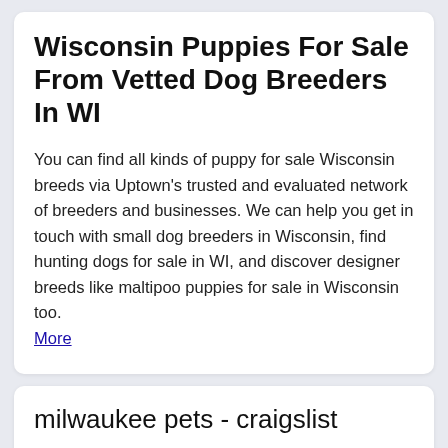Wisconsin Puppies For Sale From Vetted Dog Breeders In WI
You can find all kinds of puppy for sale Wisconsin breeds via Uptown's trusted and evaluated network of breeders and businesses. We can help you get in touch with small dog breeders in Wisconsin, find hunting dogs for sale in WI, and discover designer breeds like maltipoo puppies for sale in Wisconsin too. More
milwaukee pets - craigslist
Adorable Golden Retriever Puppies for Adoption (milwaukee) hide this posting restore